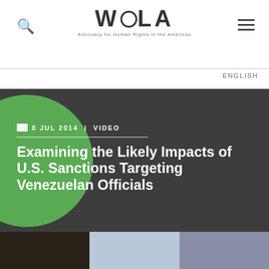WOLA — Advocacy for Human Rights in the Americas
ENGLISH
8 JUL 2014 | VIDEO
Examining the Likely Impacts of U.S. Sanctions Targeting Venezuelan Officials
[Figure (screenshot): Video thumbnail showing a panel discussion or presentation screenshot]